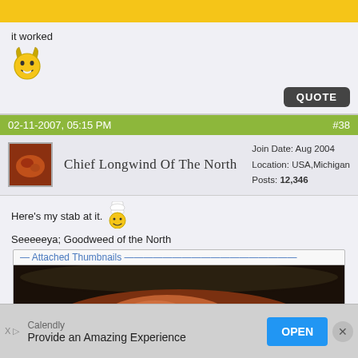[Figure (other): Yellow banner bar at top of forum post]
it worked
[Figure (illustration): Smiley face with devil horns emoji]
QUOTE
02-11-2007, 05:15 PM   #38
[Figure (photo): Small avatar photo of food/meat]
Chief Longwind Of The North
Join Date: Aug 2004
Location: USA,Michigan
Posts: 12,346
Here's my stab at it.
[Figure (illustration): Chef smiley face emoji]
Seeeeeya; Goodweed of the North
Attached Thumbnails
[Figure (photo): Photo of food/meat in a dark cast iron pan]
Calendly
Provide an Amazing Experience
OPEN